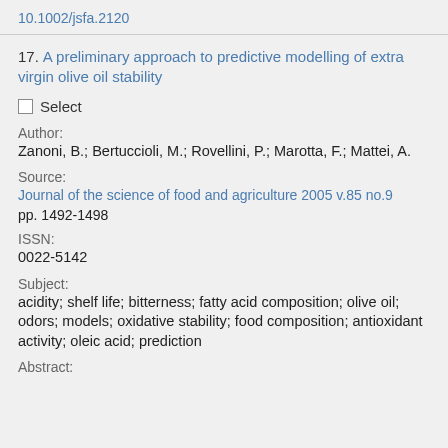10.1002/jsfa.2120
17. A preliminary approach to predictive modelling of extra virgin olive oil stability
Select
Author:
Zanoni, B.; Bertuccioli, M.; Rovellini, P.; Marotta, F.; Mattei, A.
Source:
Journal of the science of food and agriculture 2005 v.85 no.9 pp. 1492-1498
ISSN:
0022-5142
Subject:
acidity; shelf life; bitterness; fatty acid composition; olive oil; odors; models; oxidative stability; food composition; antioxidant activity; oleic acid; prediction
Abstract: